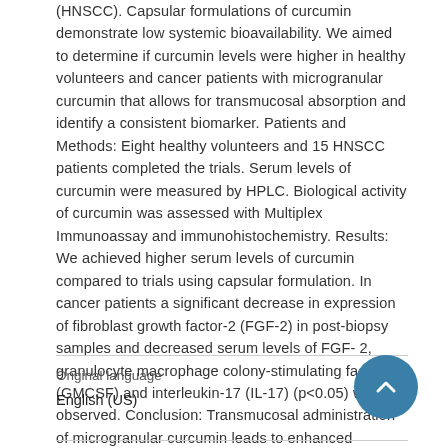(HNSCC). Capsular formulations of curcumin demonstrate low systemic bioavailability. We aimed to determine if curcumin levels were higher in healthy volunteers and cancer patients with microgranular curcumin that allows for transmucosal absorption and identify a consistent biomarker. Patients and Methods: Eight healthy volunteers and 15 HNSCC patients completed the trials. Serum levels of curcumin were measured by HPLC. Biological activity of curcumin was assessed with Multiplex Immunoassay and immunohistochemistry. Results: We achieved higher serum levels of curcumin compared to trials using capsular formulation. In cancer patients a significant decrease in expression of fibroblast growth factor-2 (FGF-2) in post-biopsy samples and decreased serum levels of FGF-2, granulocyte macrophage colony-stimulating factor (GMCSF) and interleukin-17 (IL-17) (p<0.05) was observed. Conclusion: Transmucosal administration of microgranular curcumin leads to enhanced curcumin bioavailability that is associated with significant biological effects.
Original language
English (US)